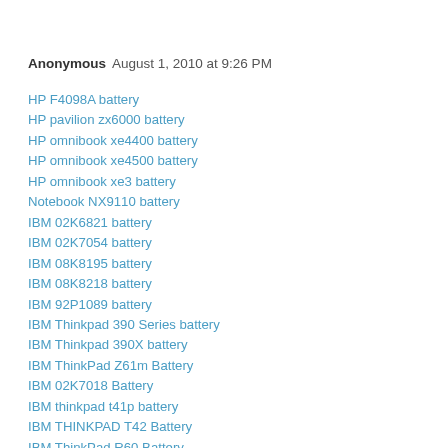Anonymous  August 1, 2010 at 9:26 PM
HP F4098A battery
HP pavilion zx6000 battery
HP omnibook xe4400 battery
HP omnibook xe4500 battery
HP omnibook xe3 battery
Notebook NX9110 battery
IBM 02K6821 battery
IBM 02K7054 battery
IBM 08K8195 battery
IBM 08K8218 battery
IBM 92P1089 battery
IBM Thinkpad 390 Series battery
IBM Thinkpad 390X battery
IBM ThinkPad Z61m Battery
IBM 02K7018 Battery
IBM thinkpad t41p battery
IBM THINKPAD T42 Battery
IBM ThinkPad R60 Battery
IBM ThinkPad T60 Battery